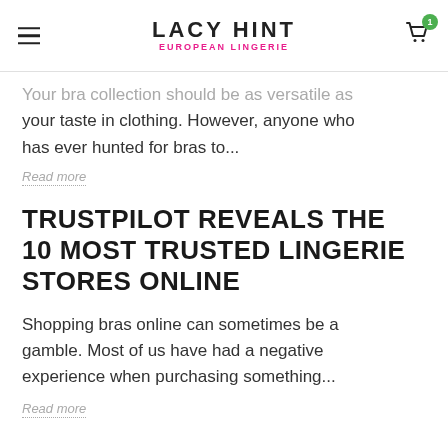LACY HINT EUROPEAN LINGERIE
Your bra collection should be as versatile as your taste in clothing. However, anyone who has ever hunted for bras to...
Read more
TRUSTPILOT REVEALS THE 10 MOST TRUSTED LINGERIE STORES ONLINE
Shopping bras online can sometimes be a gamble. Most of us have had a negative experience when purchasing something...
Read more